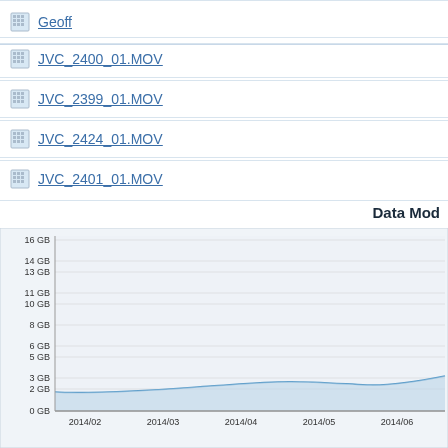Geoff
JVC_2400_01.MOV
JVC_2399_01.MOV
JVC_2424_01.MOV
JVC_2401_01.MOV
Data Mod
[Figure (area-chart): Data Mod]